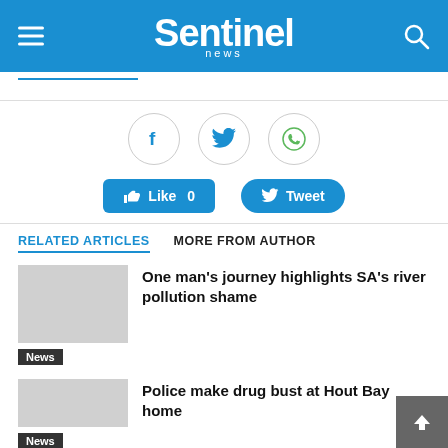Sentinel News
[Figure (screenshot): Social share icons: Facebook, Twitter, WhatsApp circles; Like 0 and Tweet buttons]
RELATED ARTICLES  MORE FROM AUTHOR
One man's journey highlights SA's river pollution shame
News
Police make drug bust at Hout Bay home
News